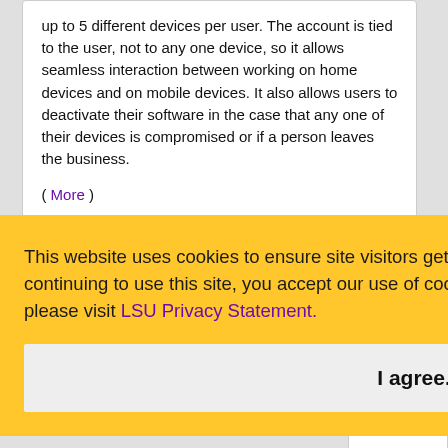up to 5 different devices per user. The account is tied to the user, not to any one device, so it allows seamless interaction between working on home devices and on mobile devices. It also allows users to deactivate their software in the case that any one of their devices is compromised or if a person leaves the business.
( More )
This website uses cookies to ensure site visitors get the best experience on our website. By continuing to use this site, you accept our use of cookies and Privacy Statement. To learn more, please visit LSU Privacy Statement.
I agree.